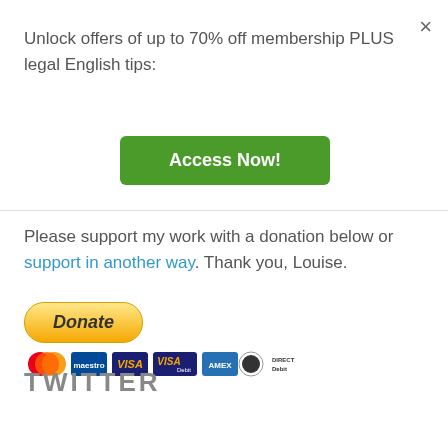×
Unlock offers of up to 70% off membership PLUS legal English tips:
[Figure (other): Green 'Access Now!' button]
Please support my work with a donation below or support in another way. Thank you, Louise.
[Figure (other): PayPal Donate button with payment card icons (Mastercard, Maestro, Visa, Visa Debit, Amex, Direct Debit)]
TWITTER